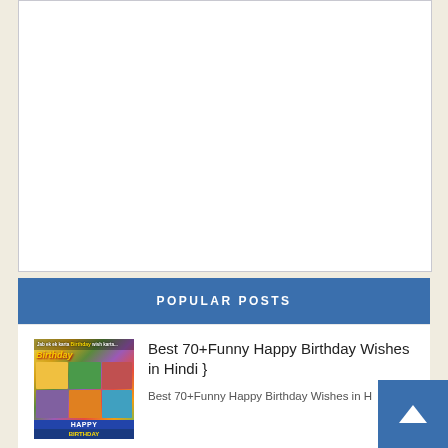[Figure (other): White empty box area, likely an advertisement placeholder]
POPULAR POSTS
[Figure (photo): Collage thumbnail of birthday wishes images with Hindi text and colorful photos]
Best 70+Funny Happy Birthday Wishes in Hindi }
Best 70+Funny Happy Birthday Wishes in H...